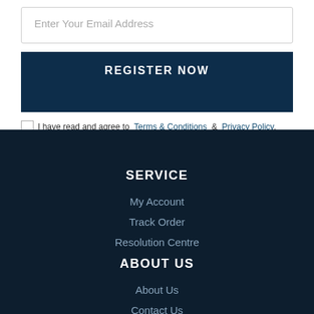Enter Your Email Address
REGISTER NOW
I have read and agree to  Terms & Conditions  &  Privacy Policy.
SERVICE
My Account
Track Order
Resolution Centre
ABOUT US
About Us
Contact Us